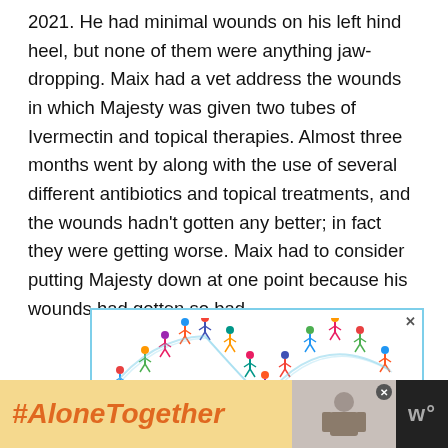2021. He had minimal wounds on his left hind heel, but none of them were anything jaw-dropping. Maix had a vet address the wounds in which Majesty was given two tubes of Ivermectin and topical therapies. Almost three months went by along with the use of several different antibiotics and topical treatments, and the wounds hadn't gotten any better; in fact they were getting worse. Maix had to consider putting Majesty down at one point because his wounds had gotten so bad.
[Figure (illustration): Advertisement banner with a light blue border showing colorful illustrated figures of skiers/people in motion arranged in a wave pattern across a white background, with a small X close button in the top right.]
[Figure (infographic): Bottom banner ad with black background containing: a tan/yellow section with orange italic bold text '#AloneTogether', a photo placeholder of a woman, a close button X, and a dark section with a 'W' logo.]